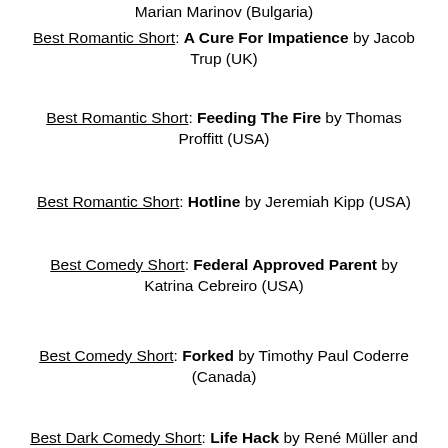Marian Marinov (Bulgaria)
Best Romantic Short: A Cure For Impatience by Jacob Trup (UK)
Best Romantic Short: Feeding The Fire by Thomas Proffitt (USA)
Best Romantic Short: Hotline by Jeremiah Kipp (USA)
Best Comedy Short: Federal Approved Parent by Katrina Cebreiro (USA)
Best Comedy Short: Forked by Timothy Paul Coderre (Canada)
Best Dark Comedy Short: Life Hack by René Müller and